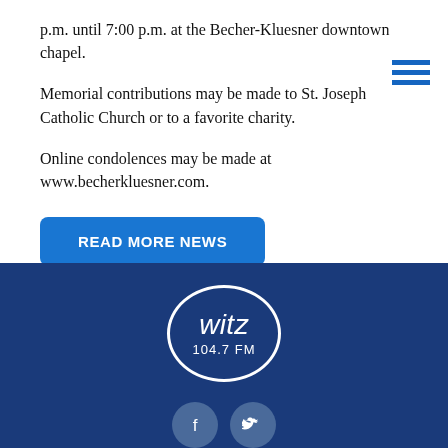p.m. until 7:00 p.m. at the Becher-Kluesner downtown chapel.
Memorial contributions may be made to St. Joseph Catholic Church or to a favorite charity.
Online condolences may be made at www.becherkluesner.com.
READ MORE NEWS
[Figure (logo): WITZ 104.7 FM radio station logo in a white circle on dark blue background]
[Figure (infographic): Social media icons: Facebook and Twitter in grey circles in the footer]